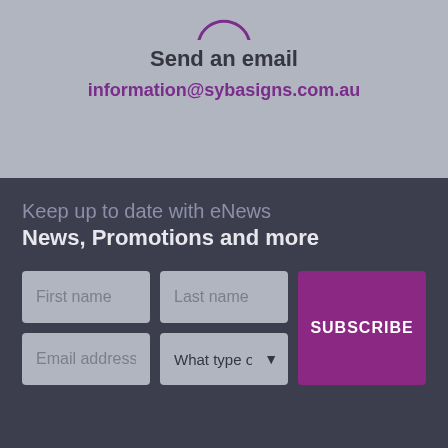[Figure (illustration): Partial email/envelope icon at the top of the page]
Send an email
information@sybasigns.com.au
Keep up to date with eNews
News, Promotions and more
[Figure (screenshot): Newsletter subscription form with First name, Last name, Email address, What type of cu (dropdown) fields and a SUBSCRIBE button]